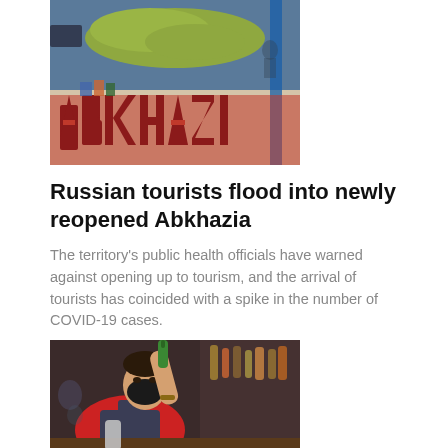[Figure (photo): Exhibition booth with large red block letters spelling ABKHAZI and a colorful map backdrop, trade show setting]
Russian tourists flood into newly reopened Abkhazia
The territory's public health officials have warned against opening up to tourism, and the arrival of tourists has coincided with a spike in the number of COVID-19 cases.
Joshua Kucera Aug 11, 2020
[Figure (photo): A man wearing a black face mask and red shirt with apron mixing a cocktail, pouring green liquid into a glass at a bar]